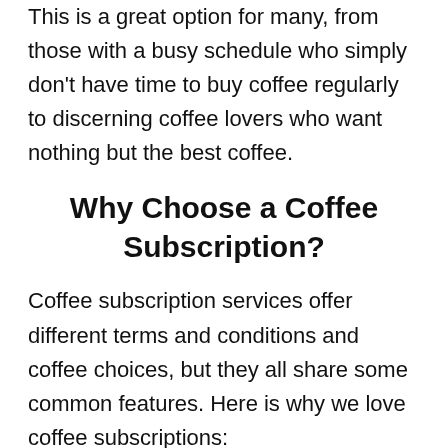This is a great option for many, from those with a busy schedule who simply don't have time to buy coffee regularly to discerning coffee lovers who want nothing but the best coffee.
Why Choose a Coffee Subscription?
Coffee subscription services offer different terms and conditions and coffee choices, but they all share some common features. Here is why we love coffee subscriptions: